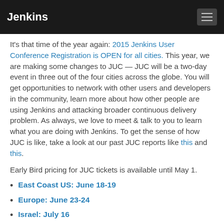Jenkins
It's that time of the year again: 2015 Jenkins User Conference Registration is OPEN for all cities. This year, we are making some changes to JUC — JUC will be a two-day event in three out of the four cities across the globe. You will get opportunities to network with other users and developers in the community, learn more about how other people are using Jenkins and attacking broader continuous delivery problem. As always, we love to meet & talk to you to learn what you are doing with Jenkins. To get the sense of how JUC is like, take a look at our past JUC reports like this and this.
Early Bird pricing for JUC tickets is available until May 1.
East Coast US: June 18-19
Europe: June 23-24
Israel: July 16
West Coast US: September 2-3